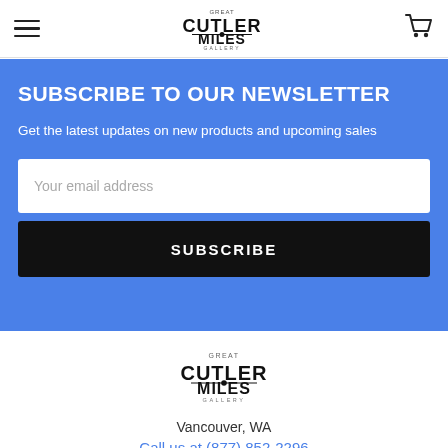Great Cutler Miles Gallery - navigation header with hamburger menu, logo, and cart icon
SUBSCRIBE TO OUR NEWSLETTER
Get the latest updates on new products and upcoming sales
Your email address
SUBSCRIBE
[Figure (logo): Great Cutler Miles Gallery logo in footer]
Vancouver, WA
Call us at (877) 852-2296